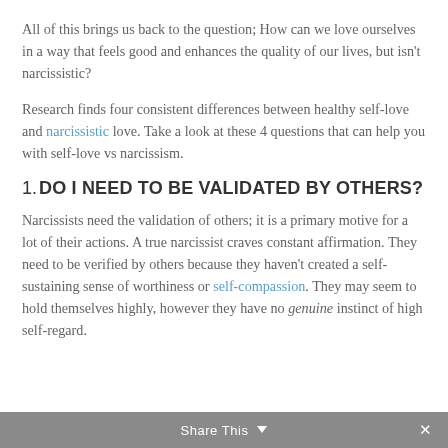All of this brings us back to the question; How can we love ourselves in a way that feels good and enhances the quality of our lives, but isn't narcissistic?
Research finds four consistent differences between healthy self-love and narcissistic love. Take a look at these 4 questions that can help you with self-love vs narcissism.
1. DO I NEED TO BE VALIDATED BY OTHERS?
Narcissists need the validation of others; it is a primary motive for a lot of their actions. A true narcissist craves constant affirmation. They need to be verified by others because they haven't created a self-sustaining sense of worthiness or self-compassion. They may seem to hold themselves highly, however they have no genuine instinct of high self-regard.
Share This  ∨   ×